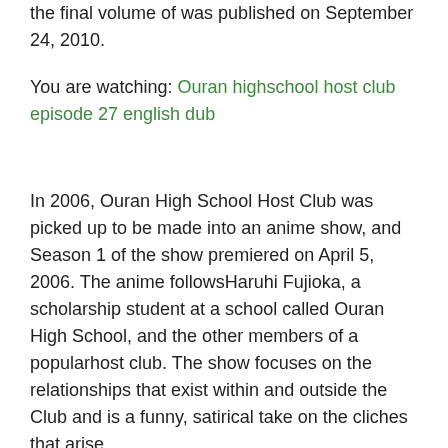the final volume of was published on September 24, 2010.
You are watching: Ouran highschool host club episode 27 english dub
In 2006, Ouran High School Host Club was picked up to be made into an anime show, and Season 1 of the show premiered on April 5, 2006. The anime followsHaruhi Fujioka, a scholarship student at a school called Ouran High School, and the other members of a popularhost club. The show focuses on the relationships that exist within and outside the Club and is a funny, satirical take on the cliches that arise.
The first season of Ouran High School Host Club went on to become a huge hit and since then, fans of